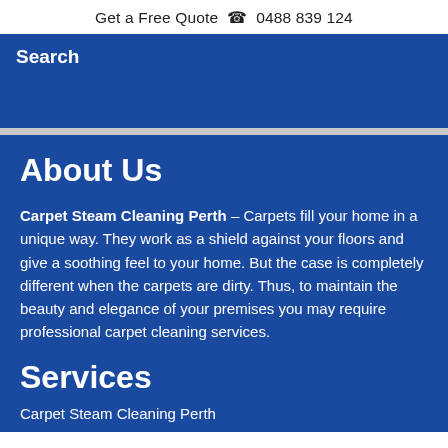Get a Free Quote 📞 0488 839 124
Search
About Us
Carpet Steam Cleaning Perth – Carpets fill your home in a unique way. They work as a shield against your floors and give a soothing feel to your home. But the case is completely different when the carpets are dirty. Thus, to maintain the beauty and elegance of your premises you may require professional carpet cleaning services.
Services
Carpet Steam Cleaning Perth